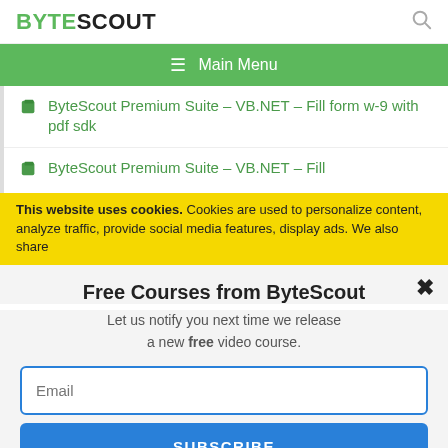BYTESCOUT
≡  Main Menu
ByteScout Premium Suite – VB.NET – Fill form w-9 with pdf sdk
ByteScout Premium Suite – VB.NET – Fill
This website uses cookies. Cookies are used to personalize content, analyze traffic, provide social media features, display ads. We also share
Free Courses from ByteScout
Let us notify you next time we release a new free video course.
Email
SUBSCRIBE